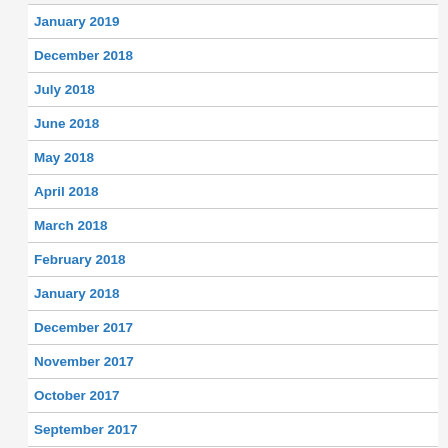January 2019
December 2018
July 2018
June 2018
May 2018
April 2018
March 2018
February 2018
January 2018
December 2017
November 2017
October 2017
September 2017
July 2017
June 2017